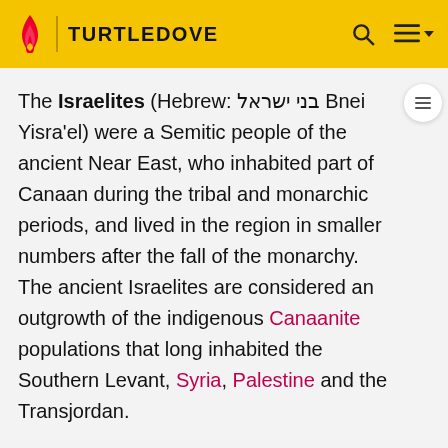TURTLEDOVE
The Israelites (Hebrew: בני ישראל Bnei Yisra'el) were a Semitic people of the ancient Near East, who inhabited part of Canaan during the tribal and monarchic periods, and lived in the region in smaller numbers after the fall of the monarchy. The ancient Israelites are considered an outgrowth of the indigenous Canaanite populations that long inhabited the Southern Levant, Syria, Palestine and the Transjordan.
In the Hebrew Bible, the term "Israelites" refers to the direct descendants of any of the sons of the patriarch Jacob, or of the people called Israel, or of a worshiper of the God of Israel, Yahweh. In the period of the divided monarchy it referred only to inhabitants of the northern